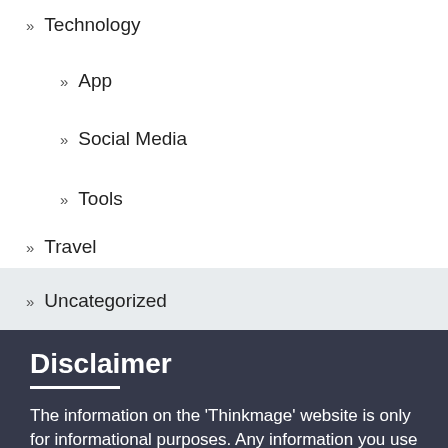» Technology
» App
» Social Media
» Tools
» Travel
» Uncategorized
Disclaimer
The information on the 'Thinkmage' website is only for informational purposes. Any information you use from our